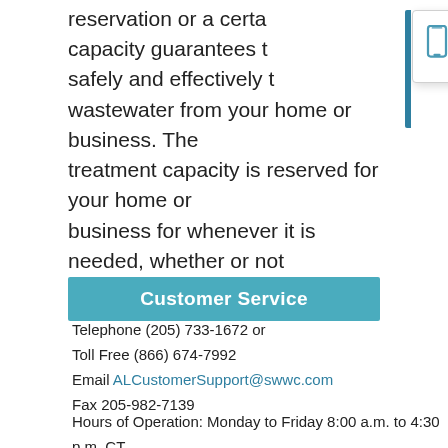reservation or a certain capacity guarantees that safely and effectively treat wastewater from your home or business. The treatment capacity is reserved for your home or business for whenever it is needed, whether or not it is actually used.
[Figure (screenshot): Paperless Billing popup notification with phone icon. Text: 'Available 24/7, our online payment system is fast, free, safe, and secure. Learn More']
Customer Service
Telephone (205) 733-1672 or
Toll Free (866) 674-7992
Email ALCustomerSupport@swwc.com
Fax 205-982-7139
Hours of Operation: Monday to Friday 8:00 a.m. to 4:30 p.m. CT